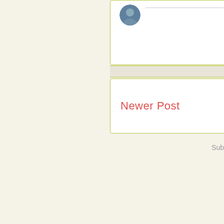[Figure (screenshot): Partial blog/website screenshot showing a card with avatar and a horizontal rule, a separator band, and a Newer Post link card]
Newer Post
Sub